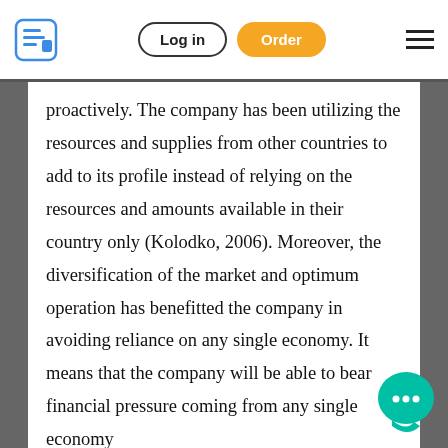Log in | Order
proactively. The company has been utilizing the resources and supplies from other countries to add to its profile instead of relying on the resources and amounts available in their country only (Kolodko, 2006). Moreover, the diversification of the market and optimum operation has benefitted the company in avoiding reliance on any single economy. It means that the company will be able to bear financial pressure coming from any single economy